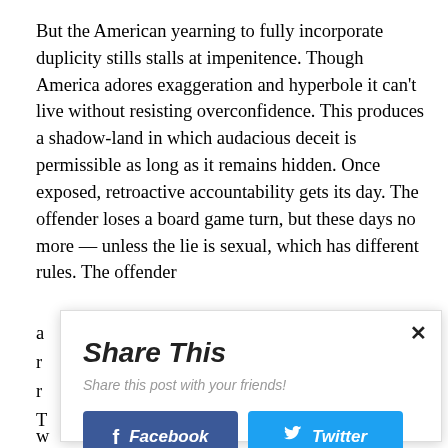But the American yearning to fully incorporate duplicity stills stalls at impenitence. Though America adores exaggeration and hyperbole it can't live without resisting overconfidence. This produces a shadow-land in which audacious deceit is permissible as long as it remains hidden. Once exposed, retroactive accountability gets its day. The offender loses a board game turn, but these days no more — unless the lie is sexual, which has different rules. The offender
[Figure (screenshot): A 'Share This' modal dialog overlay with a close button (×), title 'Share This', subtitle 'Share this post with your friends!', a blue Facebook button, a cyan Twitter button, and a green Print Friendly button.]